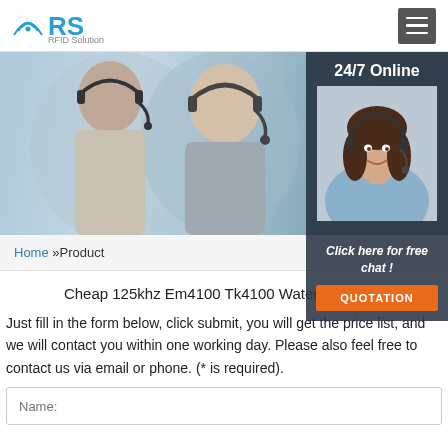[Figure (logo): RS RFID Solution logo with wifi-like symbol]
[Figure (photo): Customer service agents wearing headsets in office, with 24/7 Online chat panel overlay showing female agent]
Home »Product
Cheap 125khz Em4100 Tk4100 Waterproof Rf...
Just fill in the form below, click submit, you will get the price list, and we will contact you within one working day. Please also feel free to contact us via email or phone. (* is required).
Name: